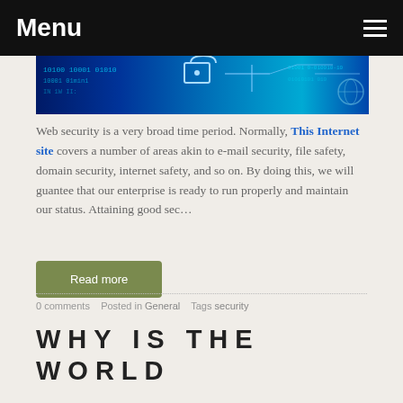Menu
[Figure (photo): Cybersecurity themed banner image with binary code, padlock icon, and circuit board graphics in blue tones]
Web security is a very broad time period. Normally, This Internet site covers a number of areas akin to e-mail security, file safety, domain security, internet safety, and so on. By doing this, we will guantee that our enterprise is ready to run properly and maintain our status. Attaining good sec…
Read more
0 comments   Posted in General   Tags security
WHY IS THE WORLD BECOMING SO WEB